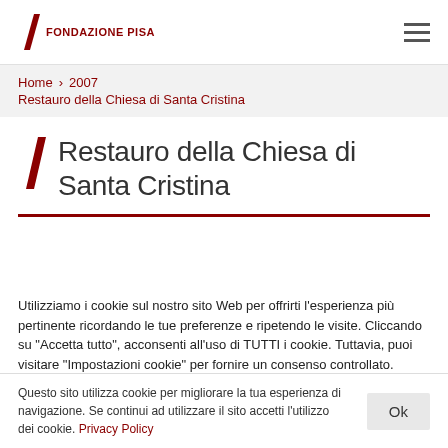FONDAZIONE PISA
Home  2007  Restauro della Chiesa di Santa Cristina
Restauro della Chiesa di Santa Cristina
Utilizziamo i cookie sul nostro sito Web per offrirti l'esperienza più pertinente ricordando le tue preferenze e ripetendo le visite. Cliccando su "Accetta tutto", acconsenti all'uso di TUTTI i cookie. Tuttavia, puoi visitare "Impostazioni cookie" per fornire un consenso controllato.
Questo sito utilizza cookie per migliorare la tua esperienza di navigazione. Se continui ad utilizzare il sito accetti l'utilizzo dei cookie. Privacy Policy